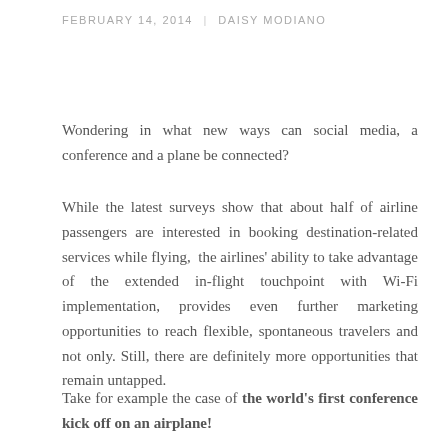FEBRUARY 14, 2014 | DAISY MODIANO
Wondering in what new ways can social media, a conference and a plane be connected?
While the latest surveys show that about half of airline passengers are interested in booking destination-related services while flying, the airlines' ability to take advantage of the extended in-flight touchpoint with Wi-Fi implementation, provides even further marketing opportunities to reach flexible, spontaneous travelers and not only. Still, there are definitely more opportunities that remain untapped.
Take for example the case of the world's first conference kick off on an airplane!